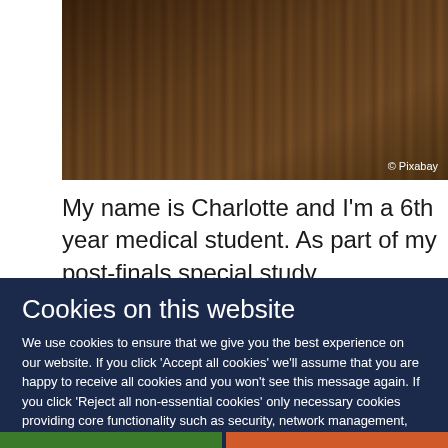[Figure (photo): Library bookshelves filled with books, dark warm tones, © Pixabay credit]
My name is Charlotte and I'm a 6th year medical student. As part of my post-finals special study
Cookies on this website
We use cookies to ensure that we give you the best experience on our website. If you click 'Accept all cookies' we'll assume that you are happy to receive all cookies and you won't see this message again. If you click 'Reject all non-essential cookies' only necessary cookies providing core functionality such as security, network management, and accessibility will be enabled. Click 'Find out more' for information on how to change your cookie settings.